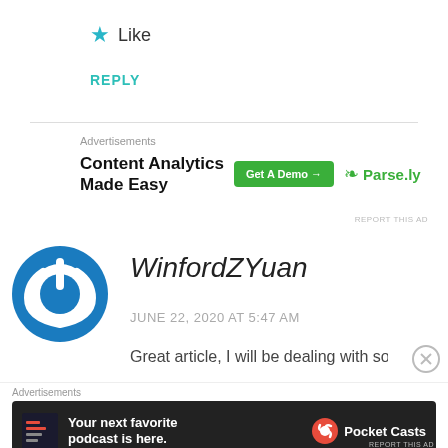★ Like
REPLY
[Figure (other): Advertisement banner: Content Analytics Made Easy with Get A Demo button and Parse.ly logo]
WinfordZYuan
JUNE 22, 2020 AT 5:47 AM
Great article, I will be dealing with some of those
[Figure (other): Advertisement banner: Your next favorite podcast is here. Pocket Casts logo]